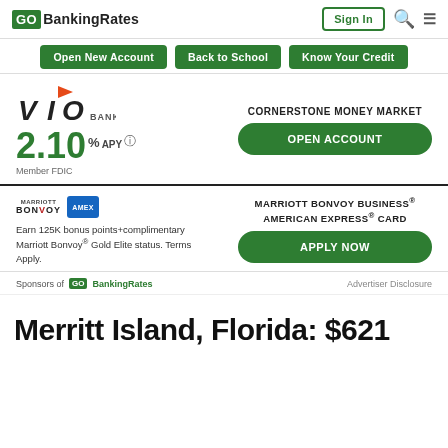GoBankingRates | Sign In
Open New Account
Back to School
Know Your Credit
[Figure (logo): VIO Bank logo with orange flag above the letter I]
2.10 % APY Member FDIC
CORNERSTONE MONEY MARKET
OPEN ACCOUNT
[Figure (logo): Marriott Bonvoy and American Express card logos]
Earn 125K bonus points+complimentary Marriott Bonvoy® Gold Elite status. Terms Apply.
MARRIOTT BONVOY BUSINESS® AMERICAN EXPRESS® CARD
APPLY NOW
Sponsors of GoBankingRates
Advertiser Disclosure
Merritt Island, Florida: $621